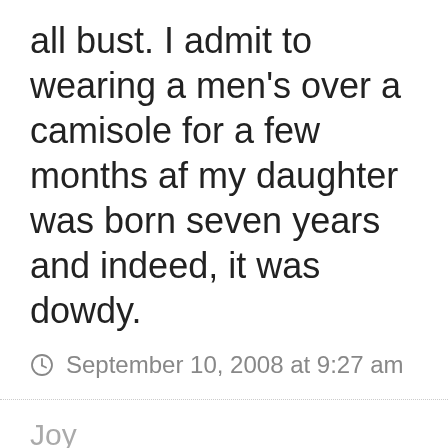all bust. I admit to wearing a men's over a camisole for a few months after my daughter was born seven years and indeed, it was dowdy.
September 10, 2008 at 9:27 am
Joy
I'm late to post, but love this look. I hope this means wearing a button– down shirt...